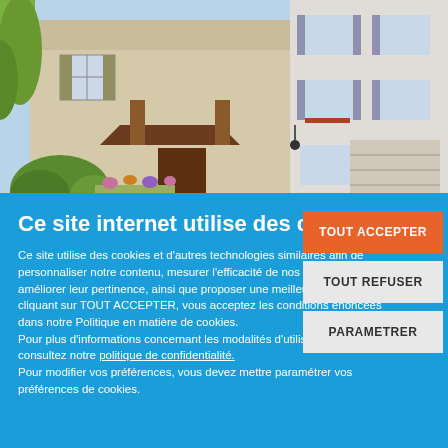[Figure (photo): Photo of a house exterior showing a light-colored stucco building with a brown wooden canopy/porch cover over the entrance, green shrubs and flowers in front, and another white multi-story building visible to the right with closed shutters and a staircase.]
Ce site internet utilise des cookies.
Ce site utilise des cookies et d'autres technologies similaires afin de personnaliser notre contenu, mesurer l'efficacité de nos publicités et améliorer leur pertinence, ainsi que proposer une meilleure expérience. En cliquant sur TOUT ACCEPTER, vous acceptez les conditions énoncées dans notre Politique en matière de cookies.
Pour plus d'informations concernant les modalités d'utilisation des cookies, consultez notre politique de confidentialité.
Pour modifier vos préférences, vous devez mettre paramétrer vos préférences de cookies.